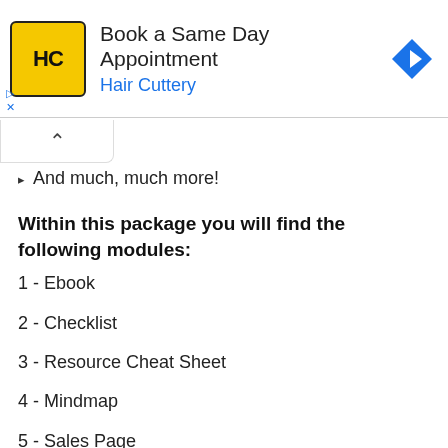[Figure (screenshot): Advertisement banner for Hair Cuttery showing logo, 'Book a Same Day Appointment' text, and navigation icon]
And much, much more!
Within this package you will find the following modules:
1 - Ebook
2 - Checklist
3 - Resource Cheat Sheet
4 - Mindmap
5 - Sales Page
6 - Optin Page
7 - Graphics
8 - Articles